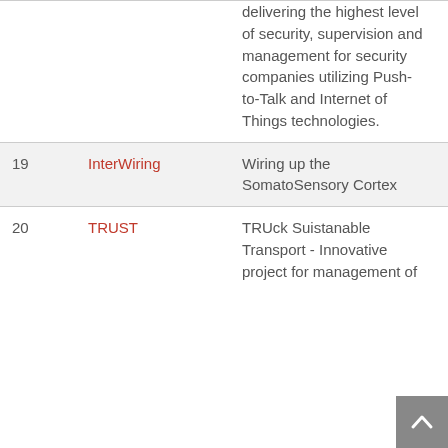| # | Name | Description | Year |
| --- | --- | --- | --- |
|  |  | delivering the highest level of security, supervision and management for security companies utilizing Push-to-Talk and Internet of Things technologies. |  |
| 19 | InterWiring | Wiring up the SomatoSensory Cortex | 2016 |
| 20 | TRUST | TRUck Suistanable Transport - Innovative project for management of | 2017 |